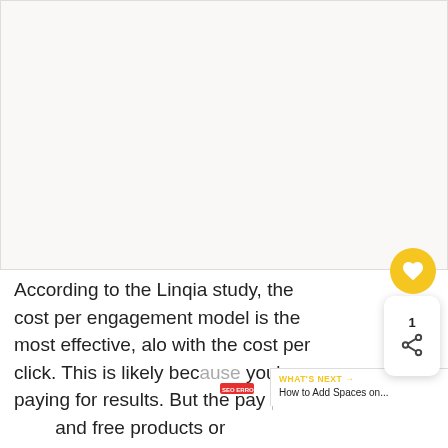[Figure (photo): Large image placeholder area, mostly white/light beige, occupying the top portion of the page]
According to the Linqia study, the cost per engagement model is the most effective, along with the cost per click. This is likely because you're paying for results. But the pay-per-post and free products or experiences are also quite